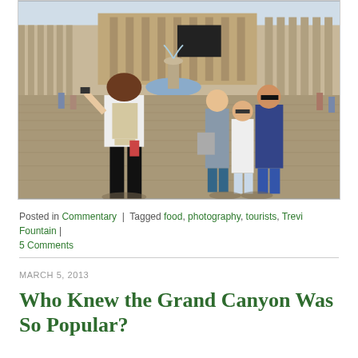[Figure (photo): Tourists in St. Peter's Square, Vatican City. A woman with a backpack faces away from the camera, photographing three people posing in front of a large fountain and colonnade.]
Posted in Commentary | Tagged food, photography, tourists, Trevi Fountain | 5 Comments
MARCH 5, 2013
Who Knew the Grand Canyon Was So Popular?